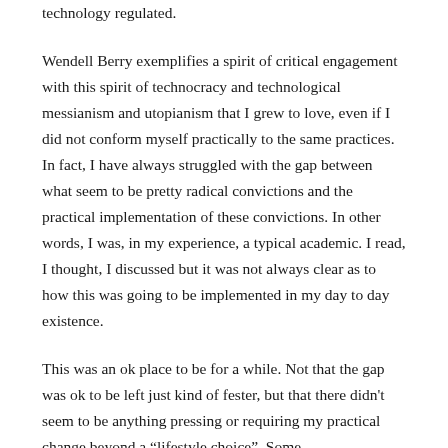technology regulated.
Wendell Berry exemplifies a spirit of critical engagement with this spirit of technocracy and technological messianism and utopianism that I grew to love, even if I did not conform myself practically to the same practices. In fact, I have always struggled with the gap between what seem to be pretty radical convictions and the practical implementation of these convictions. In other words, I was, in my experience, a typical academic. I read, I thought, I discussed but it was not always clear as to how this was going to be implemented in my day to day existence.
This was an ok place to be for a while. Not that the gap was ok to be left just kind of fester, but that there didn't seem to be anything pressing or requiring my practical change beyond a “lifestyle choice”. Some